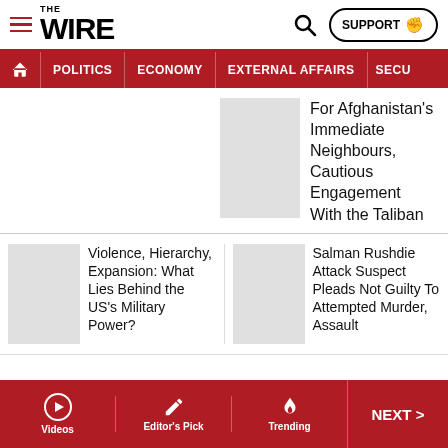THE WIRE
POLITICS  ECONOMY  EXTERNAL AFFAIRS  SECU...
For Afghanistan's Immediate Neighbours, Cautious Engagement With the Taliban
Violence, Hierarchy, Expansion: What Lies Behind the US's Military Power?
Salman Rushdie Attack Suspect Pleads Not Guilty To Attempted Murder, Assault
Videos  Editor's Pick  Trending  NEXT >